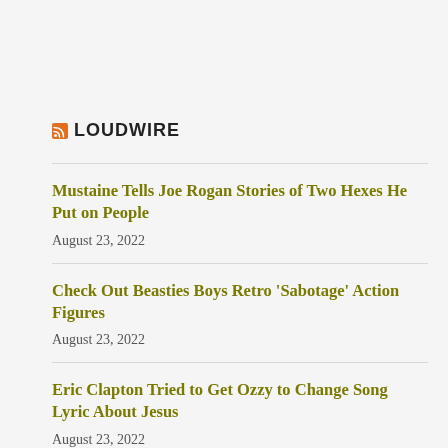LOUDWIRE
Mustaine Tells Joe Rogan Stories of Two Hexes He Put on People
August 23, 2022
Check Out Beasties Boys Retro 'Sabotage' Action Figures
August 23, 2022
Eric Clapton Tried to Get Ozzy to Change Song Lyric About Jesus
August 23, 2022